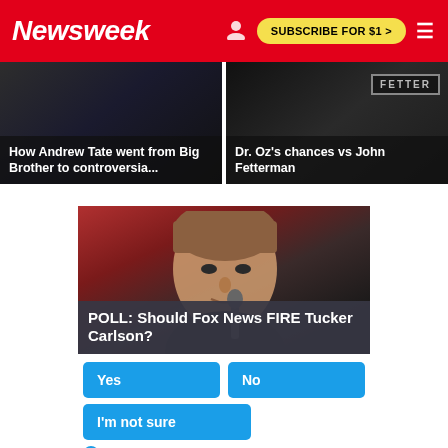Newsweek | SUBSCRIBE FOR $1 >
[Figure (photo): Article thumbnail: How Andrew Tate went from Big Brother to controversia...]
[Figure (photo): Article thumbnail: Dr. Oz's chances vs John Fetterman]
[Figure (photo): Sponsored poll ad showing Tucker Carlson with text: POLL: Should Fox News FIRE Tucker Carlson? with Yes, No, I'm not sure buttons and 78,004 Votes]
78,004 Votes • Sponsored Ad
AdChoices    Sponsored